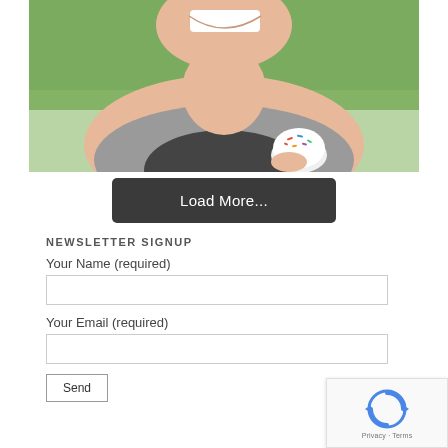[Figure (photo): Child smiling and holding a cupcake with colorful sprinkles outdoors with green background]
Load More...
NEWSLETTER SIGNUP
Your Name (required)
Your Email (required)
Send